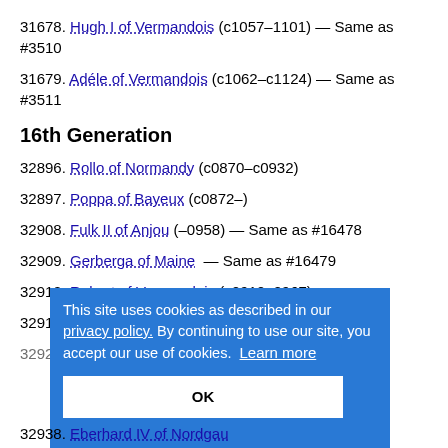31678. Hugh I of Vermandois (c1057–1101) — Same as #3510
31679. Adéle of Vermandois (c1062–c1124) — Same as #3511
16th Generation
32896. Rollo of Normandy (c0870–c0932)
32897. Poppa of Bayeux (c0872–)
32908. Fulk II of Anjou (–0958) — Same as #16478
32909. Gerberga of Maine — Same as #16479
32910. Robert of Vermandois (c0910–0967)
32911. Adelaide of Burgundy (c0920–p0967)
32928. Areulf of Flanders (c0880–0964)
[Figure (screenshot): Cookie consent banner overlay with blue background. Text: 'This site uses cookies as described in our privacy policy. By continuing to use our site, you accept our use of cookies. Learn more' with an OK button below.]
32938. Eberhard IV of Nordgau